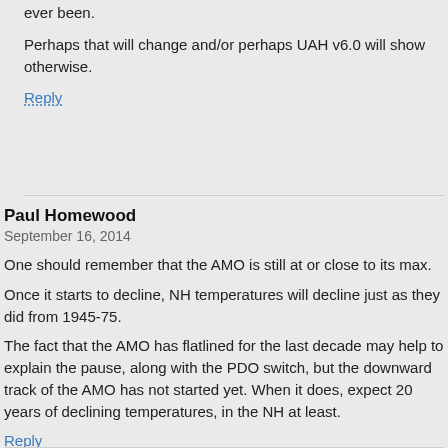ever been.
Perhaps that will change and/or perhaps UAH v6.0 will show otherwise.
Reply
Paul Homewood
September 16, 2014
One should remember that the AMO is still at or close to its max.
Once it starts to decline, NH temperatures will decline just as they did from 1945-75.
The fact that the AMO has flatlined for the last decade may help to explain the pause, along with the PDO switch, but the downward track of the AMO has not started yet. When it does, expect 20 years of declining temperatures, in the NH at least.
Reply